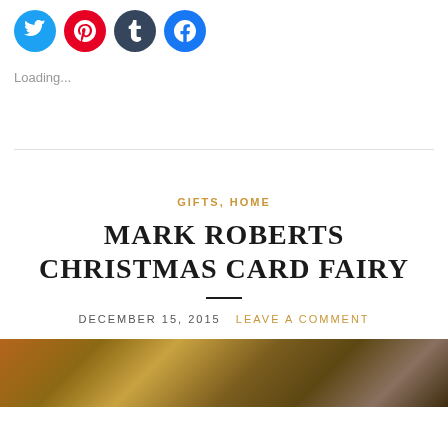[Figure (other): Social media share icons: Twitter (blue), Pinterest (red), Tumblr (dark grey), Facebook (blue)]
Loading...
GIFTS, HOME
MARK ROBERTS CHRISTMAS CARD FAIRY
DECEMBER 15, 2015  LEAVE A COMMENT
[Figure (photo): Partial photo showing fur/texture image at bottom of page]